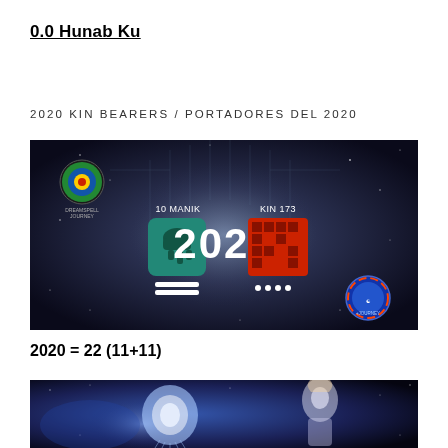0.0 Hunab Ku
2020 KIN BEARERS / PORTADORES DEL 2020
[Figure (photo): Space-themed image showing '2020' in large white numerals in the center, flanked by Mayan calendar symbols. On the left: a teal/green glyph labeled '10 MANIK' with two horizontal bars below. On the right: a red pixelated glyph labeled 'KIN 173' with four dots below. A colorful circular logo (Dreamspell Journey) is in the upper-left corner. A blue circular badge is in the lower-right corner. Background is a galaxy/space image with geometric grid overlay.]
2020 = 22 (11+11)
[Figure (photo): Blue/purple mystical or spiritual artwork showing a figure with light energy and what appears to be a female figure on the right side.]